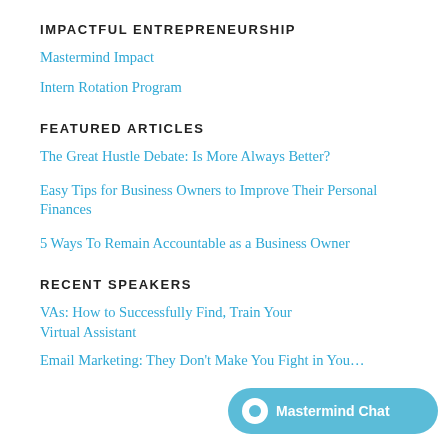IMPACTFUL ENTREPRENEURSHIP
Mastermind Impact
Intern Rotation Program
FEATURED ARTICLES
The Great Hustle Debate: Is More Always Better?
Easy Tips for Business Owners to Improve Their Personal Finances
5 Ways To Remain Accountable as a Business Owner
RECENT SPEAKERS
VAs: How to Successfully Find, Train Your Virtual Assistant
Email Marketing: They Don't Make You Fight in Your